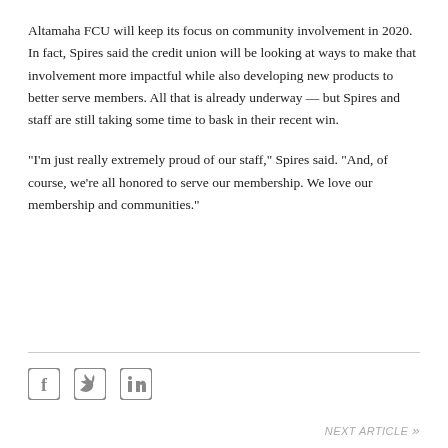Altamaha FCU will keep its focus on community involvement in 2020. In fact, Spires said the credit union will be looking at ways to make that involvement more impactful while also developing new products to better serve members. All that is already underway — but Spires and staff are still taking some time to bask in their recent win.
"I'm just really extremely proud of our staff," Spires said. "And, of course, we're all honored to serve our membership. We love our membership and communities."
[Figure (other): Social media icons: Facebook, Twitter, LinkedIn]
NEXT ARTICLE »